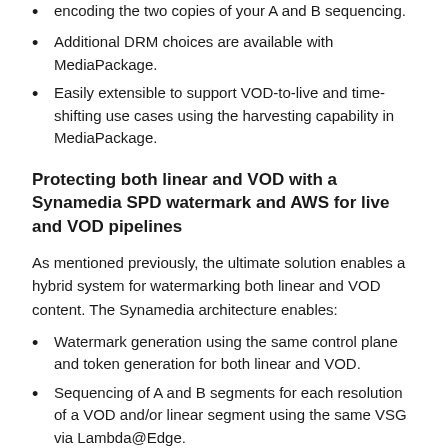encoding the two copies of your A and B sequencing.
Additional DRM choices are available with MediaPackage.
Easily extensible to support VOD-to-live and time-shifting use cases using the harvesting capability in MediaPackage.
Protecting both linear and VOD with a Synamedia SPD watermark and AWS for live and VOD pipelines
As mentioned previously, the ultimate solution enables a hybrid system for watermarking both linear and VOD content. The Synamedia architecture enables:
Watermark generation using the same control plane and token generation for both linear and VOD.
Sequencing of A and B segments for each resolution of a VOD and/or linear segment using the same VSG via Lambda@Edge.
Detection and disruption of the leaked source account ID via the same EverGuard back-end system.
Synamedia's SPD integration with both MediaLive and MediaSegment uses the following architecture. The architecture is